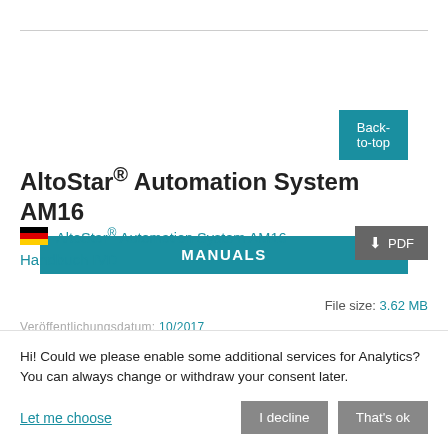MANUALS
AltoStar® Automation System AM16
AltoStar® Automation System AM16 Handbuch IVD
File size: 3.62 MB
Hi! Could we please enable some additional services for Analytics? You can always change or withdraw your consent later.
Let me choose
I decline
That's ok